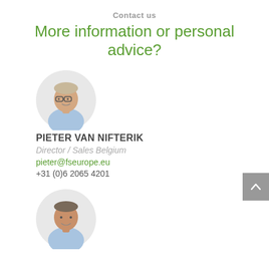Contact us
More information or personal advice?
[Figure (photo): Circular headshot photo of Pieter van Nifterik, a man wearing glasses and a light blue shirt]
PIETER VAN NIFTERIK
Director / Sales Belgium
pieter@fseurope.eu
+31 (0)6 2065 4201
[Figure (photo): Circular headshot photo of a second contact person, a man in a light blue shirt]